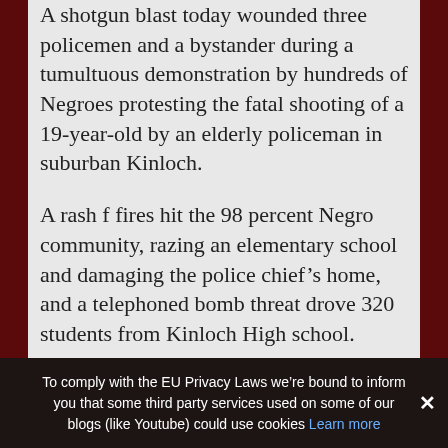A shotgun blast today wounded three policemen and a bystander during a tumultuous demonstration by hundreds of Negroes protesting the fatal shooting of a 19-year-old by an elderly policeman in suburban Kinloch.
A rash f fires hit the 98 percent Negro community, razing an elementary school and damaging the police chief’s home, and a telephoned bomb threat drove 320 students from Kinloch High school.
A force of nearly 100 county and suburban police dispersed the
To comply with the EU Privacy Laws we’re bound to inform you that some third party services used on some of our blogs (like Youtube) could use cookies Learn more